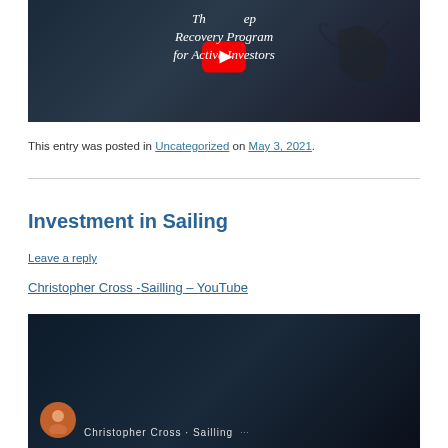[Figure (screenshot): YouTube video thumbnail showing a bull statue silhouette on a dark city street background with italicized white text reading 'The [Step] Recovery Program for Active Investors' and a YouTube play button overlay.]
This entry was posted in Uncategorized on May 3, 2021.
Investment in Sailing
Leave a reply
Christopher Cross -Sailling – YouTube
[Figure (screenshot): YouTube video thumbnail showing a dark background with a circular avatar of a person and text 'Christopher Cross Sailling' with a more options icon.]